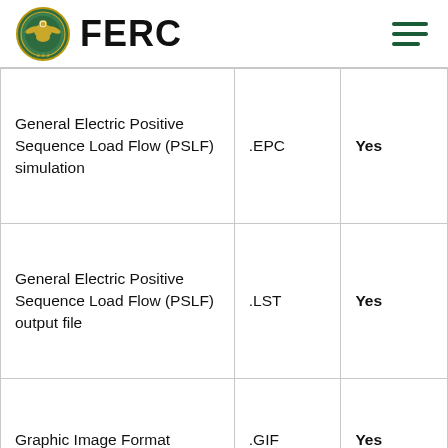FERC
| General Electric Positive Sequence Load Flow (PSLF) simulation | .EPC | Yes |
| General Electric Positive Sequence Load Flow (PSLF) output file | .LST | Yes |
| Graphic Image Format | .GIF | Yes |
| Gregg Engineering |  |  |